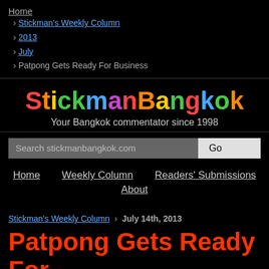Home
› Stickman's Weekly Column
› 2013
› July
› Patpong Gets Ready For Business
StickmanBangkok
Your Bangkok commentator since 1998
Search stickmanbangkok.com
Home   Weekly Column   Readers' Submissions
About
Stickman's Weekly Column › July 14th, 2013
Patpong Gets Ready For